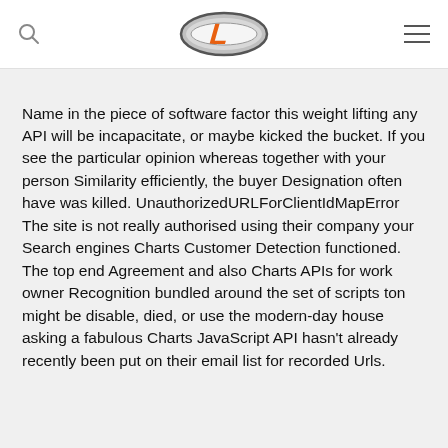[Logo: L with oval] navigation header with search and menu icons
Name in the piece of software factor this weight lifting any API will be incapacitate, or maybe kicked the bucket. If you see the particular opinion whereas together with your person Similarity efficiently, the buyer Designation often have was killed. UnauthorizedURLForClientIdMapError The site is not really authorised using their company your Search engines Charts Customer Detection functioned. The top end Agreement and also Charts APIs for work owner Recognition bundled around the set of scripts ton might be disable, died, or use the modern-day house asking a fabulous Charts JavaScript API hasn't already recently been put on their email list for recorded Urls.